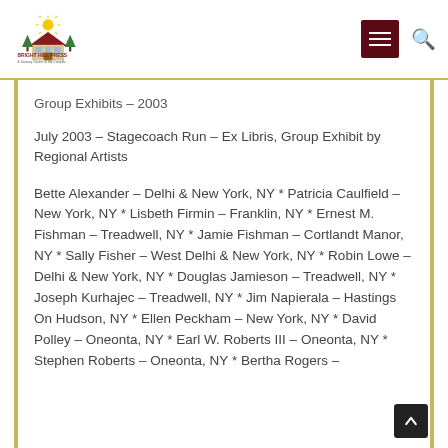Bright Hill Press & Literacy Center of the Catskills
Group Exhibits – 2003
July 2003 – Stagecoach Run – Ex Libris, Group Exhibit by Regional Artists
Bette Alexander – Delhi & New York, NY * Patricia Caulfield – New York, NY * Lisbeth Firmin – Franklin, NY * Ernest M. Fishman – Treadwell, NY * Jamie Fishman – Cortlandt Manor, NY * Sally Fisher – West Delhi & New York, NY * Robin Lowe – Delhi & New York, NY * Douglas Jamieson – Treadwell, NY * Joseph Kurhajec – Treadwell, NY * Jim Napierala – Hastings On Hudson, NY * Ellen Peckham – New York, NY * David Polley – Oneonta, NY * Earl W. Roberts III – Oneonta, NY * Stephen Roberts – Oneonta, NY * Bertha Rogers –